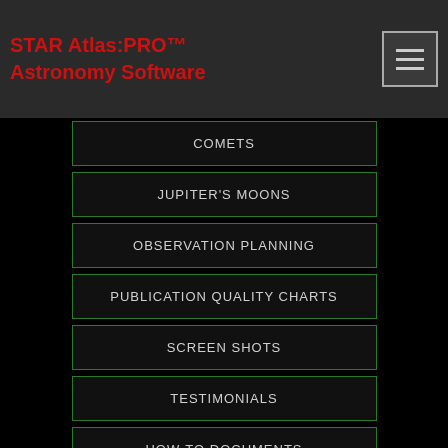STAR Atlas:PRO™ Astronomy Software
COMETS
JUPITER'S MOONS
OBSERVATION PLANNING
PUBLICATION QUALITY CHARTS
SCREEN SHOTS
TESTIMONIALS
HOW-TO DOCUMENTS
FAQS
USER MANUAL
STORE
CONTACT US
24 MILLION OBJECTS